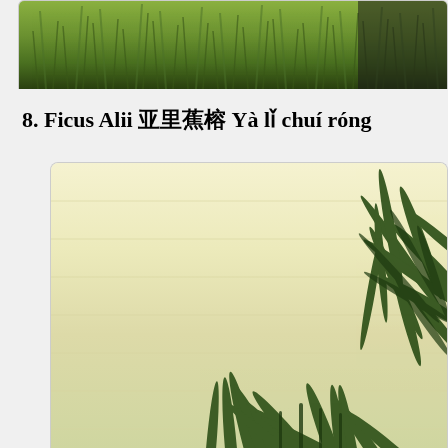[Figure (photo): Top portion of a photo showing green grass or reeds with a dark background, cropped at the top of the page.]
8. Ficus Alii 亚里蕉榕 Yà lǐ chuí róng
[Figure (photo): Photo of a Ficus Alii plant with long narrow drooping leaves against a pale yellow/cream wooden wall background. The plant fills the lower right portion of the image.]